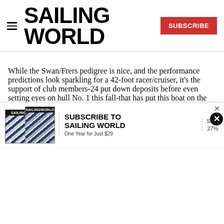SAILING WORLD
While the Swan/Frers pedigree is nice, and the performance predictions look sparkling for a 42-foot racer/cruiser, it's the support of club members-24 put down deposits before even setting eyes on hull No. 1 this fall-that has put this boat on the fast track.At more than $600,000 on the water, this 42-footer is more expensive than most similarly sized racer/cruisers-it is after all a Swan, with a comfy interior. Built that price might've proven difficult, but
[Figure (other): Sailing World magazine subscription advertisement banner showing two magazine covers and text 'SUBSCRIBE TO SAILING WORLD One Year for Just $29, Save 27%']